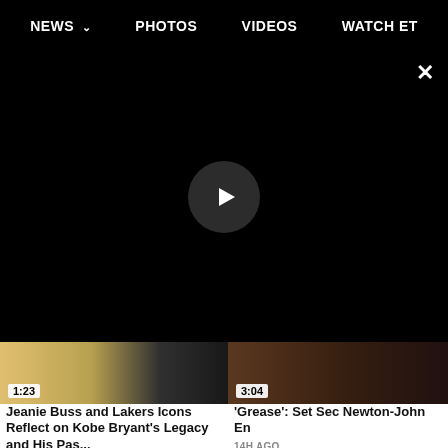NEWS  PHOTOS  VIDEOS  WATCH ET
[Figure (screenshot): Black video player area with a circular play button in the center and an X close button in the top right]
[Figure (screenshot): Video thumbnail left: 1:23 duration badge, shows Jeanie Buss and Lakers Icons]
[Figure (screenshot): Video thumbnail right: 3:04 duration badge, shows Grease set segment]
Jeanie Buss and Lakers Icons Reflect on Kobe Bryant's Legacy and His Pas...
14H AGO
'Grease': Set Sec Newton-John En
14H AGO